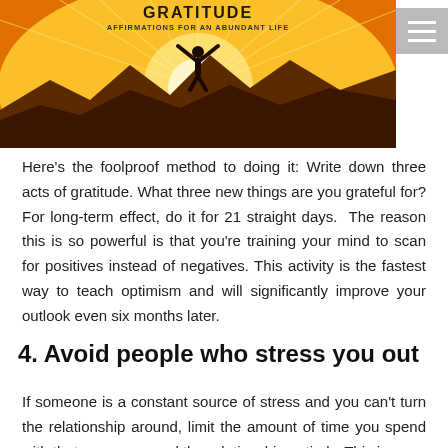[Figure (illustration): A book cover or banner image showing a silhouette of a person with arms outstretched standing on a hilltop against a golden sunrise background, with text 'GRATITUDE AFFIRMATIONS FOR AN ABUNDANT LIFE']
Here's the foolproof method to doing it: Write down three acts of gratitude. What three new things are you grateful for? For long-term effect, do it for 21 straight days.  The reason this is so powerful is that you're training your mind to scan for positives instead of negatives. This activity is the fastest way to teach optimism and will significantly improve your outlook even six months later.
4. Avoid people who stress you out
If someone is a constant source of stress and you can't turn the relationship around, limit the amount of time you spend with that person, or end the relationship entirely. This is